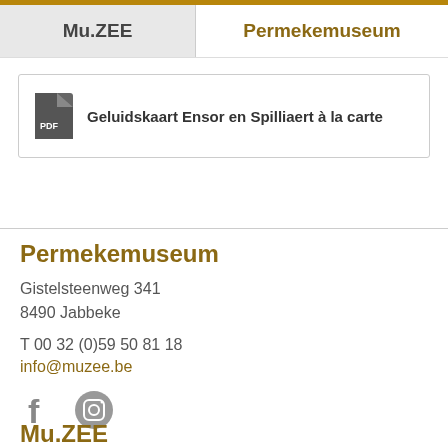Mu.ZEE | Permekemuseum
Geluidskaart Ensor en Spilliaert à la carte
Permekemuseum
Gistelsteenweg 341
8490 Jabbeke
T 00 32 (0)59 50 81 18
info@muzee.be
[Figure (illustration): Facebook and Instagram social media icons]
Mu.ZEE